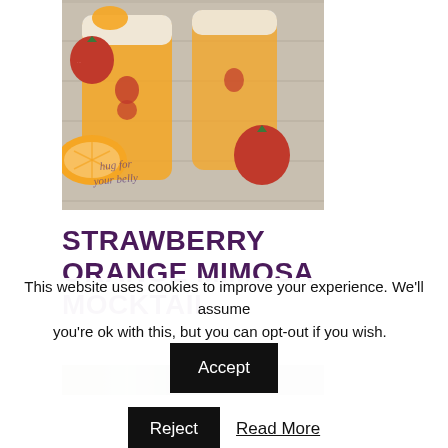[Figure (photo): Photo of strawberry orange mimosa mocktail drinks in tall glasses with orange slices and strawberries on a wooden surface. Watermark text reads 'hug for your belly'.]
STRAWBERRY ORANGE MIMOSA MOCKTAIL
[Figure (photo): Partially visible second food/drink photo, blurred/cropped at bottom of visible area.]
This website uses cookies to improve your experience. We'll assume you're ok with this, but you can opt-out if you wish.